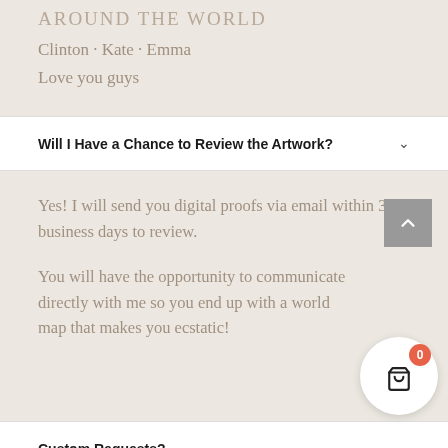AROUND THE WORLD
Clinton · Kate · Emma
Love you guys
Will I Have a Chance to Review the Artwork?
Yes! I will send you digital proofs via email within 3 business days to review.
You will have the opportunity to communicate directly with me so you end up with a world map that makes you ecstatic!
Custom Requests?